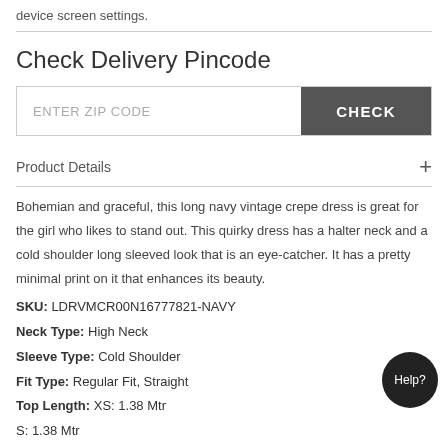device screen settings.
Check Delivery Pincode
ENTER ZIP CODE  CHECK
Product Details +
Bohemian and graceful, this long navy vintage crepe dress is great for the girl who likes to stand out. This quirky dress has a halter neck and a cold shoulder long sleeved look that is an eye-catcher. It has a pretty minimal print on it that enhances its beauty.
SKU: LDRVMCR00N16777821-NAVY
Neck Type: High Neck
Sleeve Type: Cold Shoulder
Fit Type: Regular Fit, Straight
Top Length: XS: 1.38 Mtr
S: 1.38 Mtr